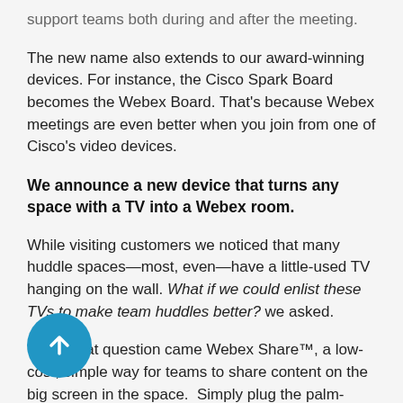support teams both during and after the meeting.
The new name also extends to our award-winning devices. For instance, the Cisco Spark Board becomes the Webex Board. That's because Webex meetings are even better when you join from one of Cisco's video devices.
We announce a new device that turns any space with a TV into a Webex room.
While visiting customers we noticed that many huddle spaces—most, even—have a little-used TV hanging on the wall. What if we could enlist these TVs to make team huddles better? we asked.
Out of that question came Webex Share™, a low-cost, simple way for teams to share content on the big screen in the space.  Simply plug the palm-sized adapter into the back of the TV. Pair with the system, and start